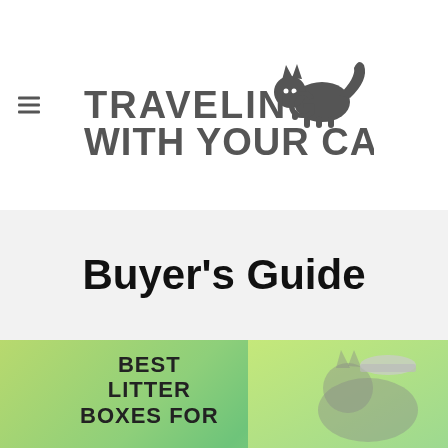[Figure (logo): Traveling With Your Cat logo with cat silhouette on top right and bold text]
Buyer's Guide
[Figure (illustration): Best Litter Boxes For [cats] - partial image with green gradient background and cat photo on right side]